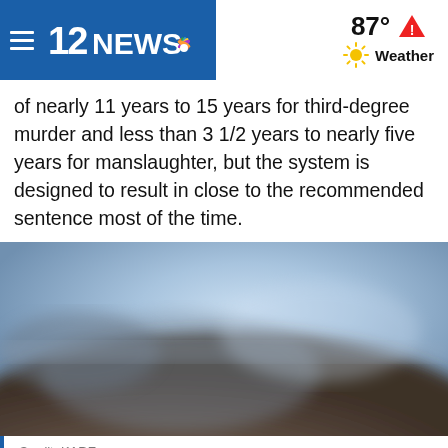12NEWS  87° Weather
of nearly 11 years to 15 years for third-degree murder and less than 3 1/2 years to nearly five years for manslaughter, but the system is designed to result in close to the recommended sentence most of the time.
[Figure (photo): Blurred outdoor photo with sky and ground, people marching, used as news article image]
Credit: KARE
Protesters marches across the Hennepin Avenue Bridge in